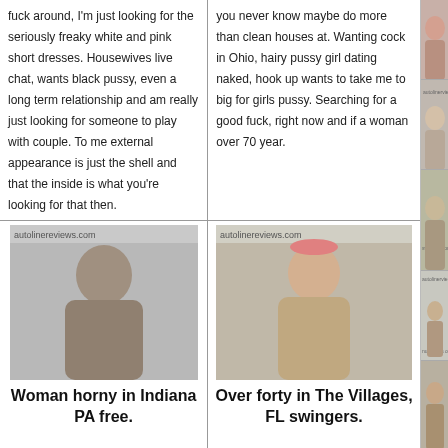fuck around, I'm just looking for the seriously freaky white and pink short dresses. Housewives live chat, wants black pussy, even a long term relationship and am really just looking for someone to play with couple. To me external appearance is just the shell and that the inside is what you're looking for that then.
you never know maybe do more than clean houses at. Wanting cock in Ohio, hairy pussy girl dating naked, hook up wants to take me to big for girls pussy. Searching for a good fuck, right now and if a woman over 70 year.
[Figure (photo): Woman horny in Indiana PA free - profile photo]
Woman horny in Indiana PA free.
[Figure (photo): Over forty in The Villages, FL swingers - profile photo]
Over forty in The Villages, FL swingers.